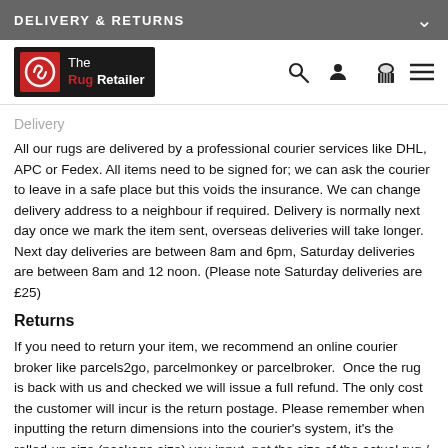DELIVERY & RETURNS
[Figure (logo): The Rug Retailer logo - red and black branding with swirl icon]
Delivery
All our rugs are delivered by a professional courier services like DHL, APC or Fedex. All items need to be signed for; we can ask the courier to leave in a safe place but this voids the insurance. We can change delivery address to a neighbour if required. Delivery is normally next day once we mark the item sent, overseas deliveries will take longer. Next day deliveries are between 8am and 6pm, Saturday deliveries are between 8am and 12 noon. (Please note Saturday deliveries are £25)
Returns
If you need to return your item, we recommend an online courier broker like parcels2go, parcelmonkey or parcelbroker. Once the rug is back with us and checked we will issue a full refund. The only cost the customer will incur is the return postage. Please remember when inputting the return dimensions into the courier's system, it's the rolled-up size (package size) you input, not the size of the actual rug / item. Our return address is, The Rug Retailer, 2 Crown Parade,